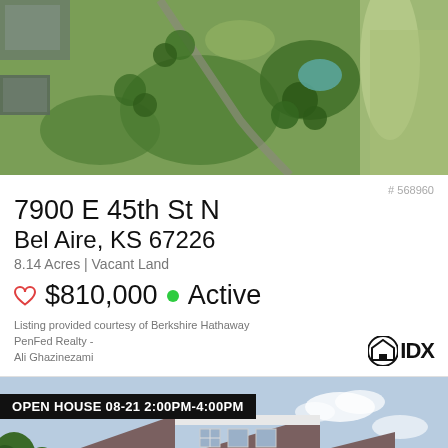[Figure (photo): Aerial satellite view of 8.14 acre vacant land parcel showing green fields, trees, and surrounding properties]
# 568960
7900 E 45th St N
Bel Aire, KS 67226
8.14 Acres | Vacant Land
❤ $810,000 • Active
Listing provided courtesy of Berkshire Hathaway PenFed Realty - Ali Ghazinezami
[Figure (photo): Exterior photo of a white modern farmhouse style home with dark roof, open house banner overlay: OPEN HOUSE 08-21 2:00PM-4:00PM]